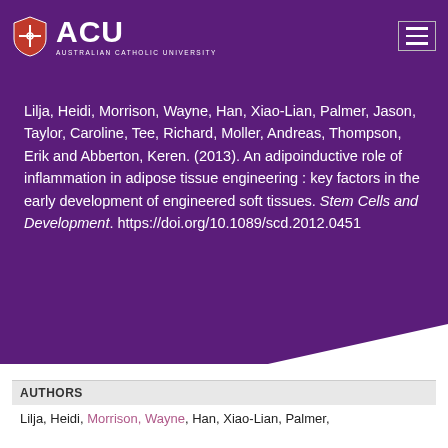ACU - AUSTRALIAN CATHOLIC UNIVERSITY
Lilja, Heidi, Morrison, Wayne, Han, Xiao-Lian, Palmer, Jason, Taylor, Caroline, Tee, Richard, Moller, Andreas, Thompson, Erik and Abberton, Keren. (2013). An adipoinductive role of inflammation in adipose tissue engineering : key factors in the early development of engineered soft tissues. Stem Cells and Development. https://doi.org/10.1089/scd.2012.0451
AUTHORS
Lilja, Heidi, Morrison, Wayne, Han, Xiao-Lian, Palmer,